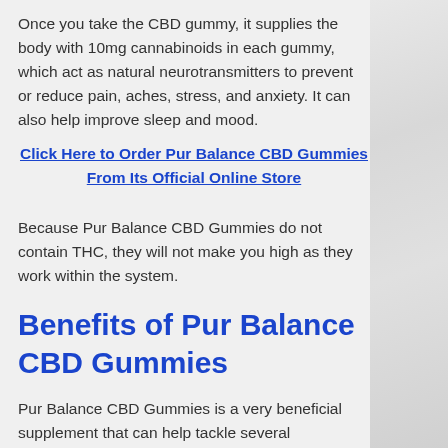Once you take the CBD gummy, it supplies the body with 10mg cannabinoids in each gummy, which act as natural neurotransmitters to prevent or reduce pain, aches, stress, and anxiety. It can also help improve sleep and mood.
Click Here to Order Pur Balance CBD Gummies From Its Official Online Store
Because Pur Balance CBD Gummies do not contain THC, they will not make you high as they work within the system.
Benefits of Pur Balance CBD Gummies
Pur Balance CBD Gummies is a very beneficial supplement that can help tackle several